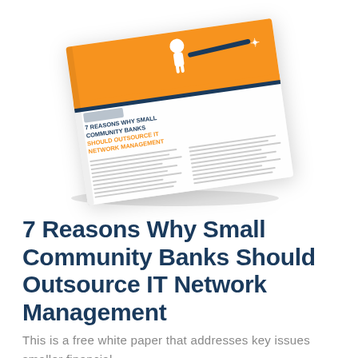[Figure (illustration): A tilted/angled white paper brochure with an orange header section featuring a cartoon character looking through a telescope, and the title '7 Reasons Why Small Community Banks Should Outsource IT Network Management' visible on the cover]
7 Reasons Why Small Community Banks Should Outsource IT Network Management
This is a free white paper that addresses key issues smaller financial